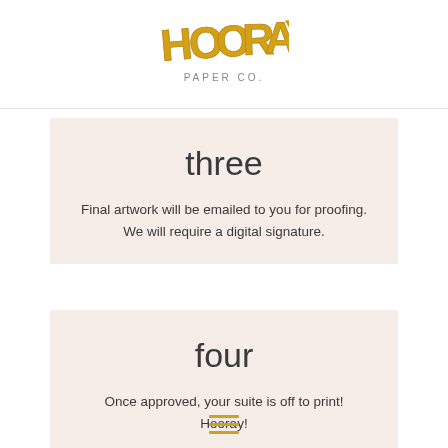[Figure (logo): Hooray Paper Co. logo — HOORAY in large bold gold outlined letters, PAPER CO. in small grey sans-serif beneath]
three
Final artwork will be emailed to you for proofing. We will require a digital signature.
four
Once approved, your suite is off to print! Hooray!